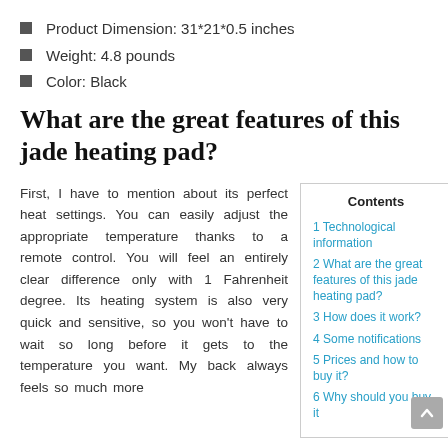Product Dimension: 31*21*0.5 inches
Weight: 4.8 pounds
Color: Black
What are the great features of this jade heating pad?
First, I have to mention about its perfect heat settings. You can easily adjust the appropriate temperature thanks to a remote control. You will feel an entirely clear difference only with 1 Fahrenheit degree. Its heating system is also very quick and sensitive, so you won't have to wait so long before it gets to the temperature you want. My back always feels so much more
| Contents |
| --- |
| 1 Technological information |
| 2 What are the great features of this jade heating pad? |
| 3 How does it work? |
| 4 Some notifications |
| 5 Prices and how to buy it? |
| 6 Why should you buy it |